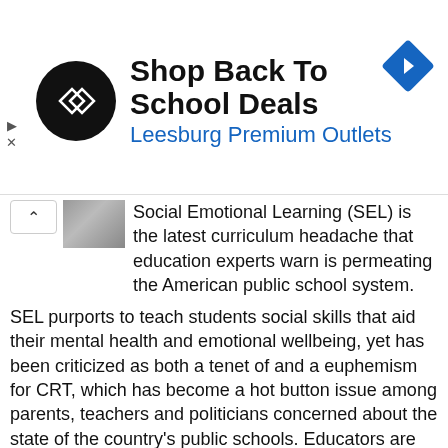[Figure (infographic): Advertisement banner: circular black logo with double arrow icon, text 'Shop Back To School Deals' and 'Leesburg Premium Outlets', blue navigation arrow diamond icon on the right]
Social Emotional Learning (SEL) is the latest curriculum headache that education experts warn is permeating the American public school system.
SEL purports to teach students social skills that aid their mental health and emotional wellbeing, yet has been criticized as both a tenet of and a euphemism for CRT, which has become a hot button issue among parents, teachers and politicians concerned about the state of the country's public schools. Educators are teaching gender ideology and race essentialism under the guise of SEL, education experts told The Daily Caller News Foundation.
READ MORE